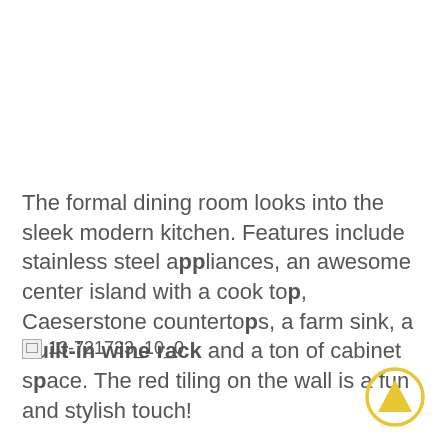The formal dining room looks into the sleek modern kitchen. Features include stainless steel appliances, an awesome center island with a cook top, Caeserstone countertops, a farm sink, a built-in wine rack and a ton of cabinet space. The red tiling on the wall is a fun and stylish touch!
[Figure (other): Broken image reference placeholder labeled 13-721733_10_0]
[Figure (other): Yellow circular navigation button with upward-pointing triangle arrow]